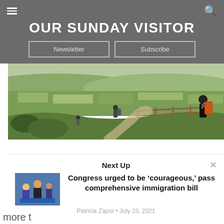OUR SUNDAY VISITOR
Newsletter | Subscribe
[Figure (photo): Hikers on a scenic overlook trail with rolling green countryside in the background and a wooden fence along the path; one hiker with large backpack visible on the right.]
Next Up
[Figure (photo): Thumbnail image showing people at what appears to be an immigration or civic event, with a blue background and several individuals visible.]
Congress urged to be ‘courageous,’ pass comprehensive immigration bill
Patricia Zapor • July 23, 2021
more t